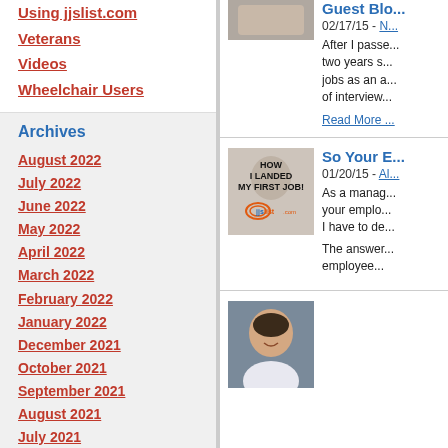Using jjslist.com
Veterans
Videos
Wheelchair Users
Archives
August 2022
July 2022
June 2022
May 2022
April 2022
March 2022
February 2022
January 2022
December 2021
October 2021
September 2021
August 2021
July 2021
June 2021
May 2021
April 2021
[Figure (photo): Thumbnail image for first blog entry]
Guest Blo...
02/17/15 - N...
After I passe... two years s... jobs as an a... of interview...
Read More ...
[Figure (photo): HOW I LANDED MY FIRST JOB! - jjslist.com logo image]
So Your E...
01/20/15 - Al...
As a manag... your emplo... I have to de...
The answer... employee...
[Figure (photo): Photo of a smiling man with Down syndrome in professional attire]